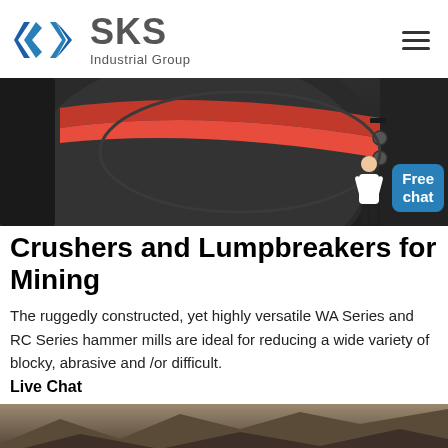SKS Industrial Group
[Figure (photo): Close-up photo of a crusher/lumpbreaker machine showing dark grey and red metallic curved parts with bolts and mechanical components. A chat agent figure and blue Free chat bubble overlay the top-right corner.]
Crushers and Lumpbreakers for Mining
The ruggedly constructed, yet highly versatile WA Series and RC Series hammer mills are ideal for reducing a wide variety of blocky, abrasive and /or difficult.
Live Chat
[Figure (photo): Partial photo of a rocky quarry or mining site showing rugged rock formations and stone surfaces.]